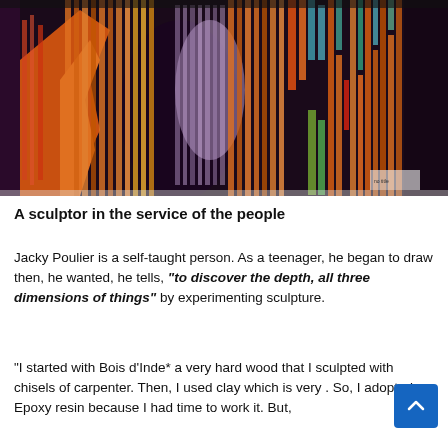[Figure (illustration): Abstract colorful painting with vertical stripes in orange, red, yellow, green, blue, and purple forming an organic sculptural shape on a dark background.]
A sculptor in the service of the people
Jacky Poulier is a self-taught person. As a teenager, he began to draw then, he wanted, he tells, "to discover the depth, all three dimensions of things" by experimenting sculpture.
"I started with Bois d'Inde* a very hard wood that I sculpted with chisels of carpenter. Then, I used clay which is very [soft]. So, I adopted Epoxy resin because I had time to work it. But,